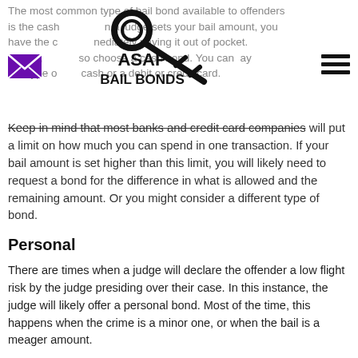The most common type of bail bond available to offenders is the cash bond. When a judge sets your bail amount, you have the choice of immediately paying it out of pocket. However, many also choose a cash bond. You can pay this type of bond in cash or a debit or credit card.
[Figure (logo): ASAP Bail Bonds logo with a key graphic and text 'ASAP BAIL BONDS']
Keep in mind that most banks and credit card companies will put a limit on how much you can spend in one transaction. If your bail amount is set higher than this limit, you will likely need to request a bond for the difference in what is allowed and the remaining amount. Or you might consider a different type of bond.
Personal
There are times when a judge will declare the offender a low flight risk by the judge presiding over their case. In this instance, the judge will likely offer a personal bond. Most of the time, this happens when the crime is a minor one, or when the bail is a meager amount.
When the judge offers you a personal bond, it is not a free pass to go home and do whatever you want. Instead, before your release, you will sign a contract. This contract states that you understand the stipulations that come with